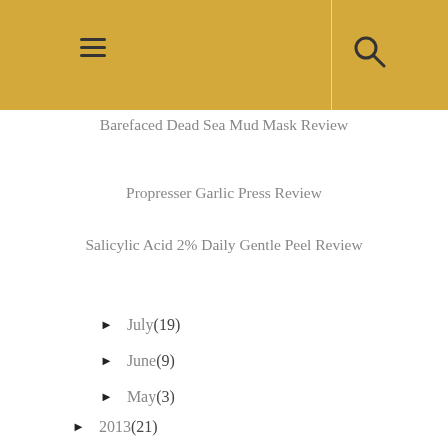Navigation header with hamburger menu and search icon
Barefaced Dead Sea Mud Mask Review
Propresser Garlic Press Review
Salicylic Acid 2% Daily Gentle Peel Review
► July (19)
► June (9)
► May (3)
► April (4)
► March (12)
► February (15)
► January (10)
► 2013 (21)
► 2012 (6)